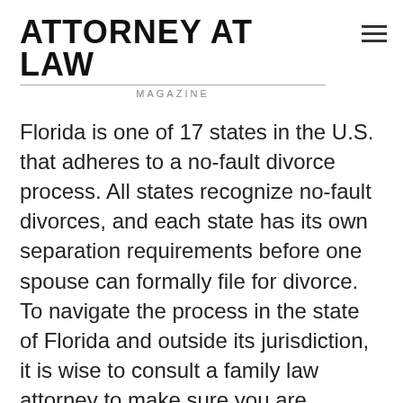ATTORNEY AT LAW MAGAZINE
Florida is one of 17 states in the U.S. that adheres to a no-fault divorce process. All states recognize no-fault divorces, and each state has its own separation requirements before one spouse can formally file for divorce. To navigate the process in the state of Florida and outside its jurisdiction, it is wise to consult a family law attorney to make sure you are adhering to the law and that your rights are being protected.